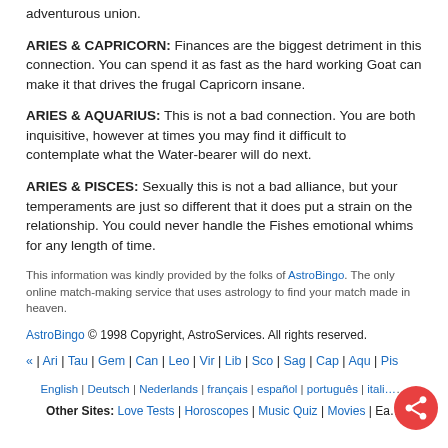adventurous union.
ARIES & CAPRICORN: Finances are the biggest detriment in this connection. You can spend it as fast as the hard working Goat can make it that drives the frugal Capricorn insane.
ARIES & AQUARIUS: This is not a bad connection. You are both inquisitive, however at times you may find it difficult to contemplate what the Water-bearer will do next.
ARIES & PISCES: Sexually this is not a bad alliance, but your temperaments are just so different that it does put a strain on the relationship. You could never handle the Fishes emotional whims for any length of time.
This information was kindly provided by the folks of AstroBingo. The only online match-making service that uses astrology to find your match made in heaven.
AstroBingo © 1998 Copyright, AstroServices. All rights reserved.
« | Ari | Tau | Gem | Can | Leo | Vir | Lib | Sco | Sag | Cap | Aqu | Pis
English | Deutsch | Nederlands | français | español | português | itali… | …
Other Sites: Love Tests | Horoscopes | Music Quiz | Movies | Ea…